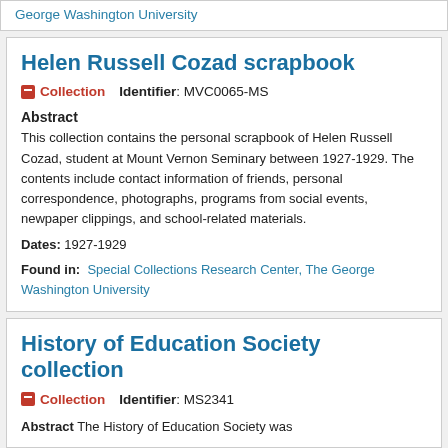George Washington University
Helen Russell Cozad scrapbook
Collection   Identifier: MVC0065-MS
Abstract
This collection contains the personal scrapbook of Helen Russell Cozad, student at Mount Vernon Seminary between 1927-1929. The contents include contact information of friends, personal correspondence, photographs, programs from social events, newpaper clippings, and school-related materials.
Dates: 1927-1929
Found in: Special Collections Research Center, The George Washington University
History of Education Society collection
Collection   Identifier: MS2341
Abstract The History of Education Society was